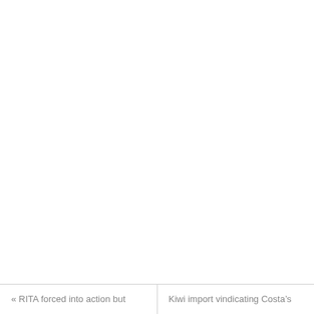« RITA forced into action but
Kiwi import vindicating Costa's